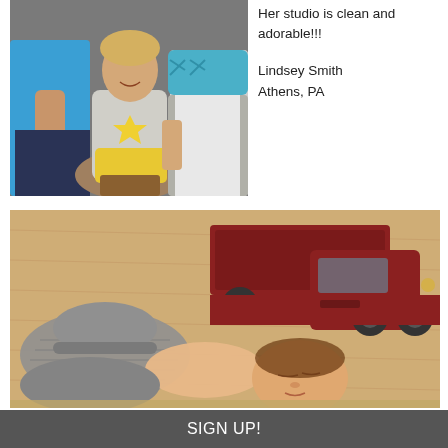[Figure (photo): Family photo of a man in blue shirt and woman in teal scarf with a young girl in a yellow skirt sitting between them in a studio setting]
Her studio is clean and adorable!!!

Lindsey Smith
Athens, PA
[Figure (photo): Newborn baby sleeping on a fur blanket next to a vintage red toy truck, wearing a gray knitted hat]
SIGN UP!